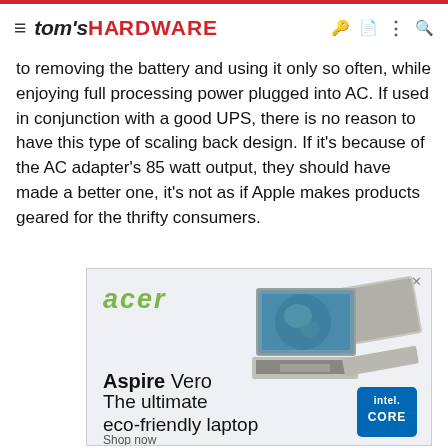tom's HARDWARE
to removing the battery and using it only so often, while enjoying full processing power plugged into AC. If used in conjunction with a good UPS, there is no reason to have this type of scaling back design. If it's because of the AC adapter's 85 watt output, they should have made a better one, it's not as if Apple makes products geared for the thrifty consumers.
[Figure (photo): Acer advertisement showing two Acer Aspire Vero laptops with text 'Aspire Vero - The ultimate eco-friendly laptop' and an Intel Core badge in the corner.]